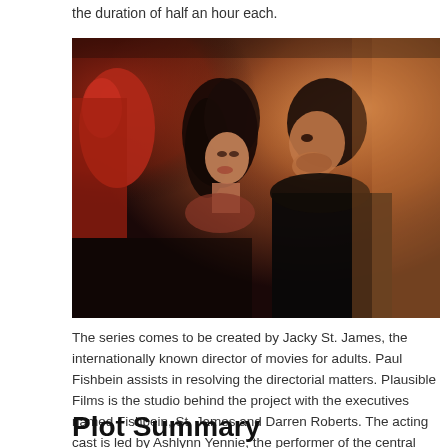the duration of half an hour each.
[Figure (photo): A man and woman in close proximity, appearing to be in an intimate or dramatic scene. The woman has long dark hair; the man is in a dark jacket. Warm cinematic lighting.]
The series comes to be created by Jacky St. James, the internationally known director of movies for adults. Paul Fishbein assists in resolving the directorial matters. Plausible Films is the studio behind the project with the executives named Fishbein, St. James and Darren Roberts. The acting cast is led by Ashlynn Yennie, the performer of the central heroine.
Plot Summary